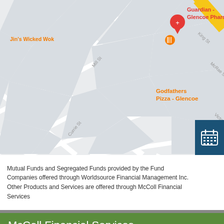[Figure (map): Google Maps screenshot showing downtown Glencoe, ON area with landmarks including Guardian - Glencoe Pharmacy, Jin's Wicked Wok, Godfathers Pizza - Glencoe, Carruthers Self Storage, Foodland - Glencoe, LCBO, Glencoe (transit stop), Tim Hortons, and Bonsai Rides. A yellow diagonal road (Highway 14) runs through the center.]
Mutual Funds and Segregated Funds provided by the Fund Companies offered through Worldsource Financial Management Inc. Other Products and Services are offered through McColl Financial Services
McColl Financial Services
239 Main Street
Glencoe ON N0L 1M0
Phone: (519) 287-2955